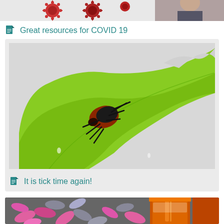[Figure (photo): Top partial strip showing COVID virus illustrations (red coronavirus icons) and partial image of a person on the right]
Great resources for COVID 19
[Figure (photo): Close-up photograph of a dark red and black tick (arachnid) sitting on a bright green leaf against a light grey/white background]
It is tick time again!
[Figure (photo): Bottom partial strip showing pink and grey capsule pills scattered on a surface with an orange pill bottle in the background]